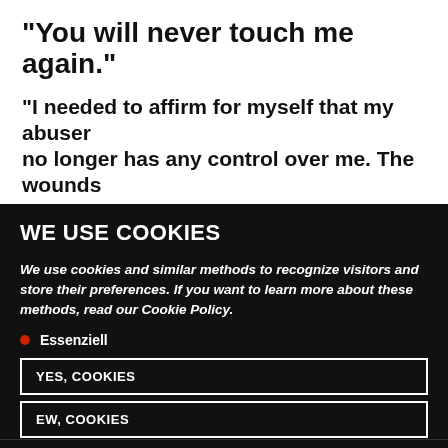“You will never touch me again.”
"I needed to affirm for myself that my abuser no longer has any control over me. The wounds have to drain out before they can heal. I
WE USE COOKIES
We use cookies and similar methods to recognize visitors and store their preferences. If you want to learn more about these methods, read our Cookie Policy.
Essenziell
YES, COOKIES
EW, COOKIES
PREFERENCES
Datenschutzerklärung • Impressum • Cookie Consent mit Real Cookie Banner